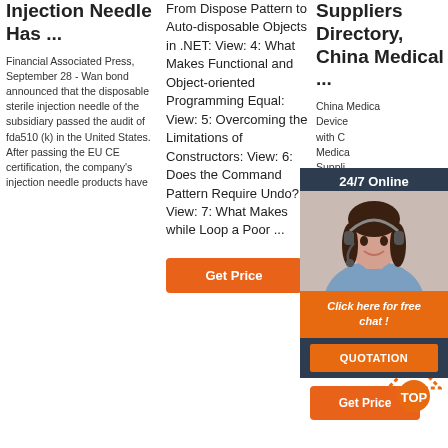Injection Needle Has ...
Financial Associated Press, September 28 - Wan bond announced that the disposable sterile injection needle of the subsidiary passed the audit of fda510 (k) in the United States. After passing the EU CE certification, the company's injection needle products have
From Dispose Pattern to Auto-disposable Objects in .NET: View: 4: What Makes Functional and Object-oriented Programming Equal: View: 5: Overcoming the Limitations of Constructors: View: 6: Does the Command Pattern Require Undo? View: 7: What Makes while Loop a Poor ...
Suppliers Directory, China Medical ...
China Medical Device with China Medical Suppliers Manufacturers Exporters choose suitable Medical Suppliers Exporters & Manufacturers
[Figure (photo): Customer service representative with headset, 24/7 Online chat widget with orange QUOTATION button]
Get Price
Get Price
Get Price